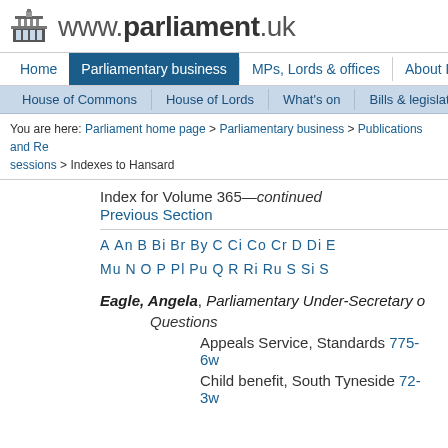www.parliament.uk
Home | Parliamentary business | MPs, Lords & offices | About Parliament
House of Commons | House of Lords | What's on | Bills & legislation
You are here: Parliament home page > Parliamentary business > Publications and Records (all sessions) > Indexes to Hansard
Index for Volume 365—continued
Previous Section
A An B Bi Br By C Ci Co Cr D Di E ... Mu N O P Pl Pu Q R Ri Ru S Si S...
Eagle, Angela, Parliamentary Under-Secretary o...
Questions
Appeals Service, Standards 775-6w
Child benefit, South Tyneside 72-3w